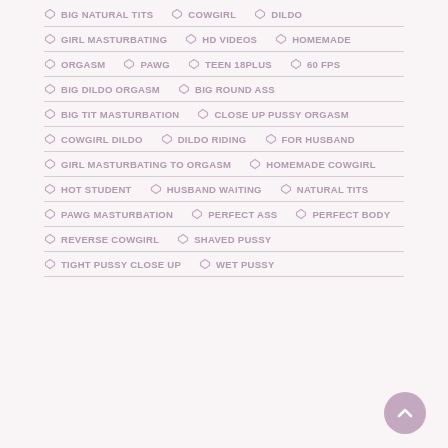BIG NATURAL TITS
COWGIRL
DILDO
GIRL MASTURBATING
HD VIDEOS
HOMEMADE
ORGASM
PAWG
TEEN 18PLUS
60 FPS
BIG DILDO ORGASM
BIG ROUND ASS
BIG TIT MASTURBATION
CLOSE UP PUSSY ORGASM
COWGIRL DILDO
DILDO RIDING
FOR HUSBAND
GIRL MASTURBATING TO ORGASM
HOMEMADE COWGIRL
HOT STUDENT
HUSBAND WAITING
NATURAL TITS
PAWG MASTURBATION
PERFECT ASS
PERFECT BODY
REVERSE COWGIRL
SHAVED PUSSY
TIGHT PUSSY CLOSE UP
WET PUSSY